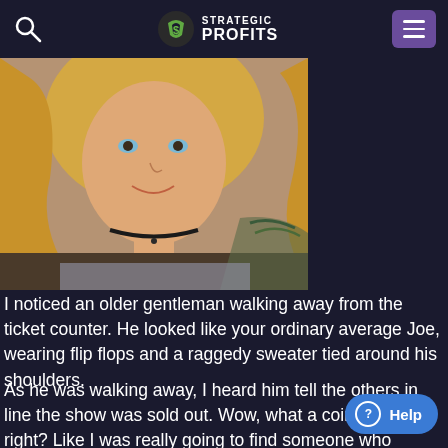Strategic Profits
[Figure (photo): Portrait photo of a blonde woman with tattoos on her shoulder/chest, wearing a sparkly top and beaded necklace, smiling at camera. Photo occupies left two-thirds of the image area.]
I noticed an older gentleman walking away from the ticket counter. He looked like your ordinary average Joe, wearing flip flops and a raggedy sweater tied around his shoulders.
As he was walking away, I heard him tell the others in line the show was sold out. Wow, what a coincidence, right? Like I was really going to find someone who wanted the ext Besides, there were only about 8 people standing around as it was.